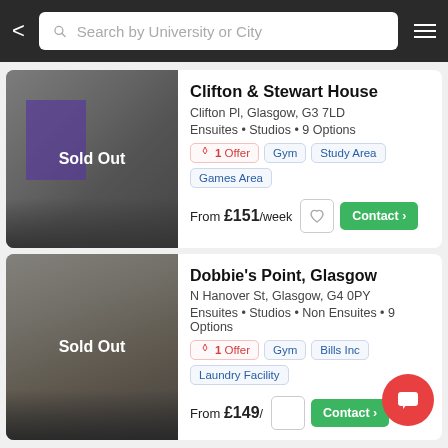Search by University or City
Clifton & Stewart House
Clifton Pl, Glasgow, G3 7LD
Ensuites • Studios • 9 Options
1 Offer | Gym | Study Area | Games Area
From £151/week
Dobbie's Point, Glasgow
N Hanover St, Glasgow, G4 0PY
Ensuites • Studios • Non Ensuites • 9 Options
1 Offer | Gym | Bills Inc | Laundry Facility
From £149/...